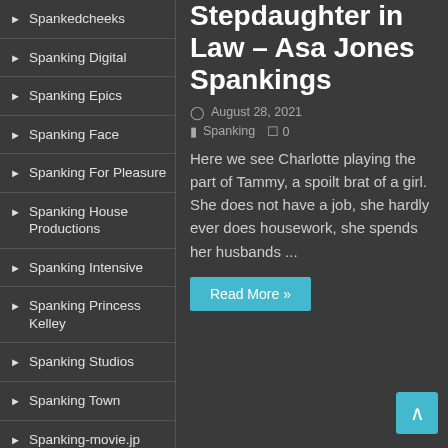Spankedcheeks
Spanking Digital
Spanking Epics
Spanking Face
Spanking For Pleasure
Spanking House Productions
Spanking Intensive
Spanking Princess Kelley
Spanking Studios
Spanking Town
Spanking-movie.jp
Spanking101thevideos
SpankingGlamour
Spankingonline
Stepdaughter in Law – Asa Jones Spankings
August 28, 2021  Spanking  0
Here we see Charlotte playing the part of Tammy, a spoilt brat of a girl. She does not have a job, she hardly ever does housework, she spends her husbands ...
Read More »